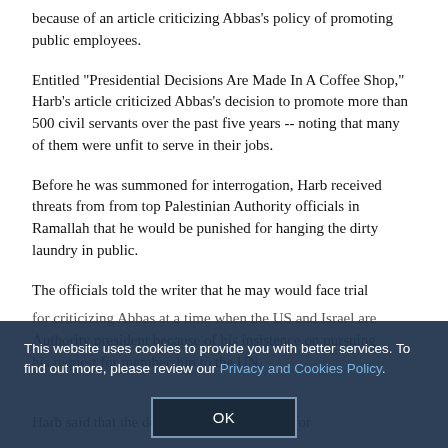because of an article criticizing Abbas's policy of promoting public employees.
Entitled "Presidential Decisions Are Made In A Coffee Shop," Harb's article criticized Abbas's decision to promote more than 500 civil servants over the past five years -- noting that many of them were unfit to serve in their jobs.
Before he was summoned for interrogation, Harb received threats from from top Palestinian Authority officials in Ramallah that he would be punished for hanging the dirty laundry in public.
The officials told the writer that he may would face trial for criticizing Abbas at a time when the US and Israel are Authority president because of his insistence on pursuing his request for membership to the UN.
This website uses cookies to provide you with better services. To find out more, please review our Privacy and Cookies Policy.
Harb said that the decision to summon him for